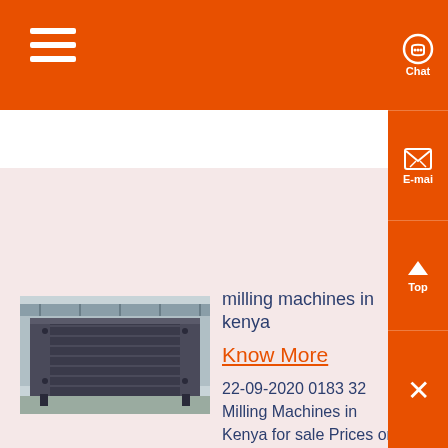≡ (hamburger menu icon)
[Figure (photo): Industrial milling machine component, appears to be a large metal vibrating screen or hopper in a factory/warehouse setting]
milling machines in kenya
Know More
22-09-2020 0183 32 Milling Machines in Kenya for sale Prices on Jijicoke Milling Machines in Kenya Types Milling Machines 15 Show a VIP TOP 1 Posho Mill Machine KS 65,000 Brand new machine high quality and durable capacity 320kg/h 220va high standard